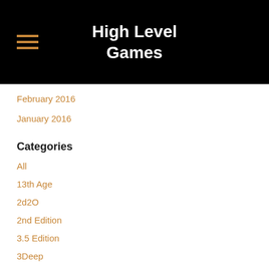High Level Games
February 2016
January 2016
Categories
All
13th Age
2d2O
2nd Edition
3.5 Edition
3Deep
4th Edition
5th Edition
7th Sea
Acquisitions Inc